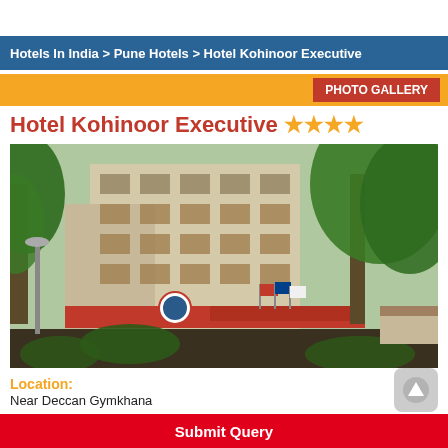Hotels In India > Pune Hotels > Hotel Kohinoor Executive
Hotel Kohinoor Executive ★★★★
[Figure (photo): Exterior photo of Hotel Kohinoor Executive building with trees in foreground and flags at entrance]
Location:
Near Deccan Gymkhana
Submit Query